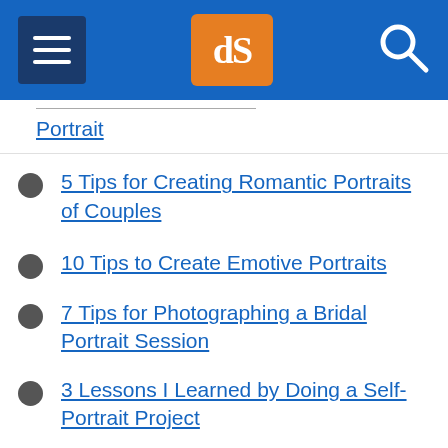dPS navigation header
Portrait
5 Tips for Creating Romantic Portraits of Couples
10 Tips to Create Emotive Portraits
7 Tips for Photographing a Bridal Portrait Session
3 Lessons I Learned by Doing a Self-Portrait Project
The Ultimate Guide to Photographing People for the Shy Photographer
Tips for Getting Yourself to Relax as a Photographer and Have More Successful Portrait Session